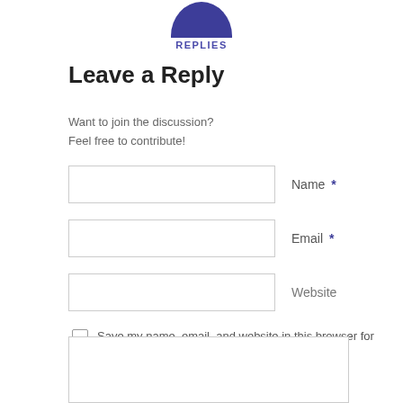[Figure (illustration): Partial view of a dark blue/indigo circle (top half visible) above the word REPLIES]
Leave a Reply
Want to join the discussion?
Feel free to contribute!
Name *
Email *
Website
Save my name, email, and website in this browser for the next time I comment.